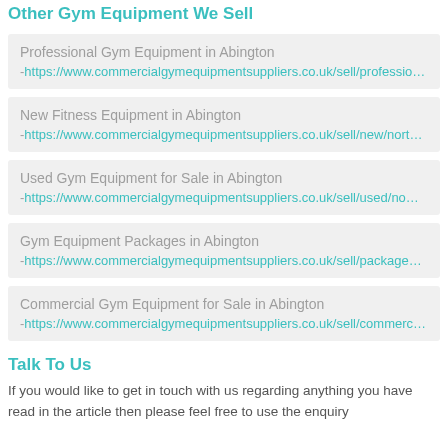Other Gym Equipment We Sell
Professional Gym Equipment in Abington
- https://www.commercialgymequipmentsuppliers.co.uk/sell/professio…
New Fitness Equipment in Abington
- https://www.commercialgymequipmentsuppliers.co.uk/sell/new/nort…
Used Gym Equipment for Sale in Abington
- https://www.commercialgymequipmentsuppliers.co.uk/sell/used/no…
Gym Equipment Packages in Abington
- https://www.commercialgymequipmentsuppliers.co.uk/sell/package…
Commercial Gym Equipment for Sale in Abington
- https://www.commercialgymequipmentsuppliers.co.uk/sell/commerc…
Talk To Us
If you would like to get in touch with us regarding anything you have read in the article then please feel free to use the enquiry